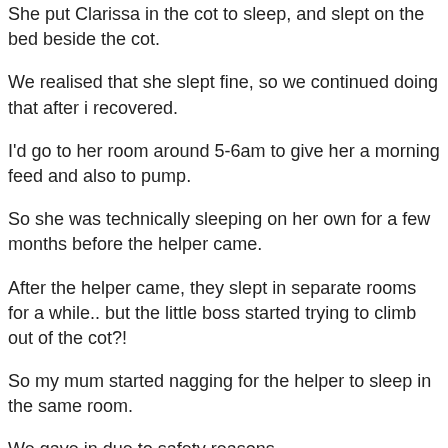She put Clarissa in the cot to sleep, and slept on the bed beside the cot.
We realised that she slept fine, so we continued doing that after i recovered.
I'd go to her room around 5-6am to give her a morning feed and also to pump.
So she was technically sleeping on her own for a few months before the helper came.
After the helper came, they slept in separate rooms for a while.. but the little boss started trying to climb out of the cot?!
So my mum started nagging for the helper to sleep in the same room.
We gave in due to safety reasons.